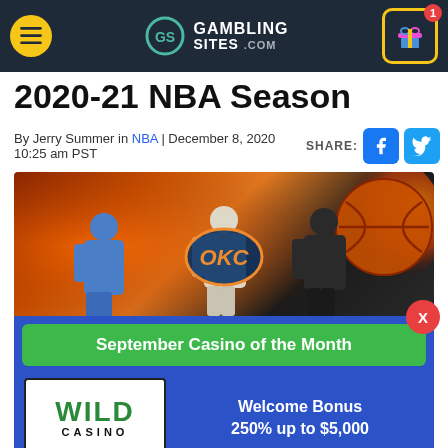GambingSites.com navigation header
2020-21 NBA Season
By Jerry Summer in NBA | December 8, 2020 10:25 am PST
[Figure (photo): NBA promotional banner with three basketball players and OKC Thunder logo against orange/fire background]
September Casino of the Month
[Figure (logo): Wild Casino logo - green text on white background]
Welcome Bonus
250% up to $5,000
VISIT SITE ▶